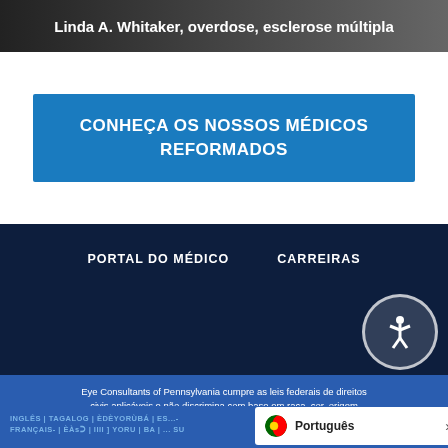[Figure (photo): Dark banner image with text overlay reading 'Linda A. Whitaker, overdose, esclerose múltipla']
CONHEÇA OS NOSSOS MÉDICOS REFORMADOS
PORTAL DO MÉDICO   CARREIRAS
[Figure (infographic): Social media icons: Facebook, Instagram, LinkedIn, YouTube, and accessibility button]
Eye Consultants of Pennsylvania cumpre as leis federais de direitos civis aplicáveis e não discrimina com base em raça, cor, origem nacional, idade, deficiência ou sexo.
INGLÊS | TAGALOG | ÈDÈYORÙBÁ | ES...- FRANÇAIS- | ÈÀsƆ | IIII ] YORU | BA | ... SU
[Figure (infographic): Português language selector pill showing Portuguese flag and chevron arrow]